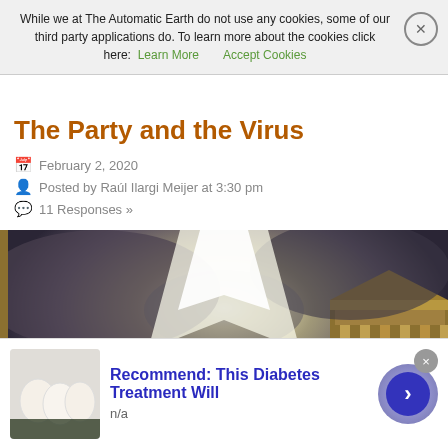While we at The Automatic Earth do not use any cookies, some of our third party applications do. To learn more about the cookies click here: Learn More   Accept Cookies
The Party and the Virus
February 2, 2020
Posted by Raúl Ilargi Meijer at 3:30 pm
11 Responses »
[Figure (illustration): A dramatic, dark painting depicting an apocalyptic or catastrophic scene with buildings, swirling clouds, and a bright beam of light emanating from the sky center.]
Recommend: This Diabetes Treatment Will
n/a